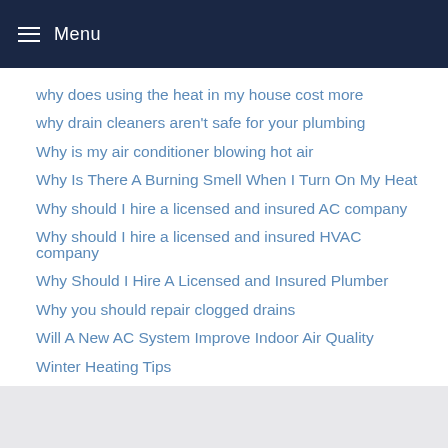Menu
why does using the heat in my house cost more
why drain cleaners aren't safe for your plumbing
Why is my air conditioner blowing hot air
Why Is There A Burning Smell When I Turn On My Heat
Why should I hire a licensed and insured AC company
Why should I hire a licensed and insured HVAC company
Why Should I Hire A Licensed and Insured Plumber
Why you should repair clogged drains
Will A New AC System Improve Indoor Air Quality
Winter Heating Tips
worn out flapper
wrong sized AC